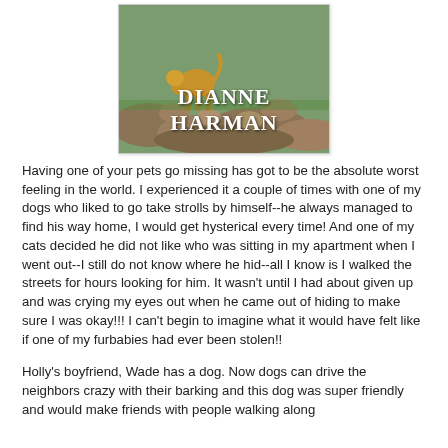[Figure (illustration): Book cover image for a book by Dianne Harman, showing a dog and rocks/garden background with the author name 'DIANNE HARMAN' in white serif text]
Having one of your pets go missing has got to be the absolute worst feeling in the world. I experienced it a couple of times with one of my dogs who liked to go take strolls by himself--he always managed to find his way home, I would get hysterical every time! And one of my cats decided he did not like who was sitting in my apartment when I went out--I still do not know where he hid--all I know is I walked the streets for hours looking for him. It wasn't until I had about given up and was crying my eyes out when he came out of hiding to make sure I was okay!!! I can't begin to imagine what it would have felt like if one of my furbabies had ever been stolen!!
Holly's boyfriend, Wade has a dog. Now dogs can drive the neighbors crazy with their barking and this dog was super friendly and would make friends with people walking along